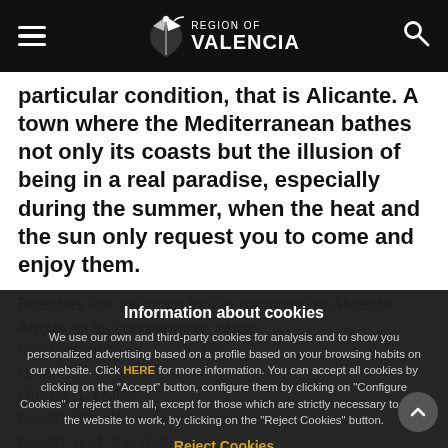Region of Valencia
particular condition, that is Alicante. A town where the Mediterranean bathes not only its coasts but the illusion of being in a real paradise, especially during the summer, when the heat and the sun only request you to come and enjoy them.
Beaches are the main tourist attraction of Alicante. Above all its conditioning, which has earned the words European Union's Blue Flag...
Information about cookies
We use our own and third-party cookies for analysis and to show you personalized advertising based on a profile based on your browsing habits on our website. Click HERE for more information. You can accept all cookies by clicking on the "Accept" button, configure them by clicking on "Configure Cookies" or reject them all, except for those which are strictly necessary to allow the website to work, by clicking on the "Reject Cookies" button.
Reject Cookies
Accept Cookies
Configure Cookies
More info
Huerta, La Albufereta, Postiguet beach, Isla de Tabarca, El Palmares-Urbanova beach, and, the recently inaugurated